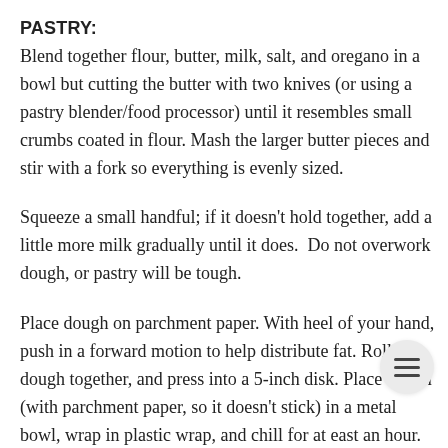PASTRY:
Blend together flour, butter, milk, salt, and oregano in a bowl but cutting the butter with two knives (or using a pastry blender/food processor) until it resembles small crumbs coated in flour. Mash the larger butter pieces and stir with a fork so everything is evenly sized.
Squeeze a small handful; if it doesn't hold together, add a little more milk gradually until it does.  Do not overwork dough, or pastry will be tough.
Place dough on parchment paper. With heel of your hand, push in a forward motion to help distribute fat. Roll the dough together, and press into a 5-inch disk. Place dough (with parchment paper, so it doesn't stick) in a metal bowl, wrap in plastic wrap, and chill for at east an hour.
CARAMELIZE ONIONS:
In a nonstick pan, drizzle olive oil and add the onions. Caramelize the